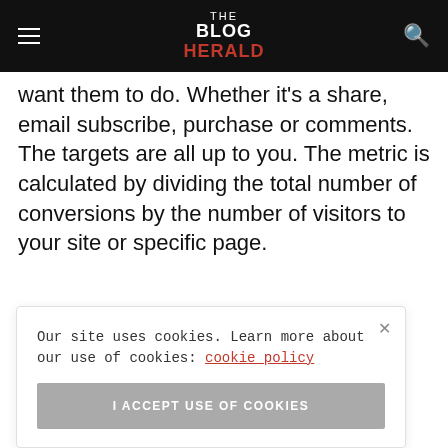THE BLOG HERALD
want them to do. Whether it's a share, email subscribe, purchase or comments. The targets are all up to you. The metric is calculated by dividing the total number of conversions by the number of visitors to your site or specific page.
Our site uses cookies. Learn more about our use of cookies: cookie policy
I ACCEPT USE OF COOKIES